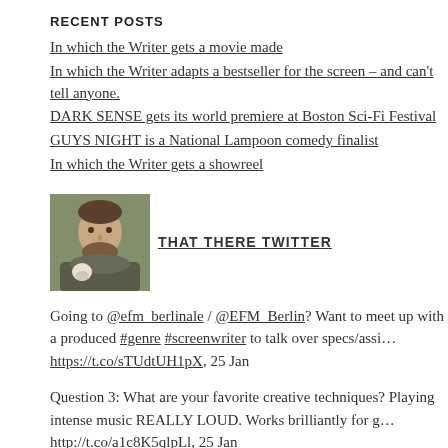RECENT POSTS
In which the Writer gets a movie made
In which the Writer adapts a bestseller for the screen – and can't tell anyone.
DARK SENSE gets its world premiere at Boston Sci-Fi Festival
GUYS NIGHT is a National Lampoon comedy finalist
In which the Writer gets a showreel
[Figure (photo): Small portrait photo of a man with a beard, holding something, used as a social media avatar]
THAT THERE TWITTER
Going to @efm_berlinale / @EFM_Berlin? Want to meet up with a produced #genre #screenwriter to talk over specs/assi… https://t.co/sTUdtUH1pX, 25 Jan
Question 3: What are your favorite creative techniques? Playing intense music REALLY LOUD. Works brilliantly for g… http://t.co/a1c8K5qlpLl, 25 Jan